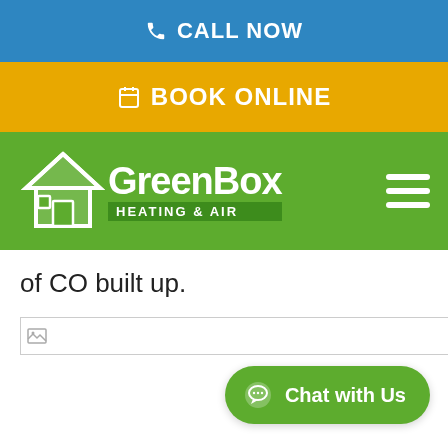CALL NOW
BOOK ONLINE
[Figure (logo): GreenBox Heating & Air logo with house icon on green navigation bar]
of CO built up.
[Figure (other): Broken image placeholder with small image icon]
Chat with Us